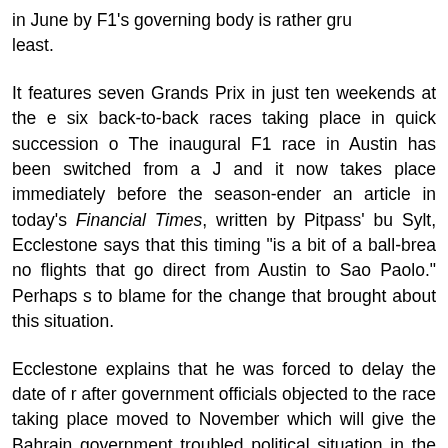in June by F1's governing body is rather gru least.
It features seven Grands Prix in just ten weekends at the e six back-to-back races taking place in quick succession o The inaugural F1 race in Austin has been switched from a J and it now takes place immediately before the season-ender an article in today's Financial Times, written by Pitpass' bu Sylt, Ecclestone says that this timing "is a bit of a ball-brea no flights that go direct from Austin to Sao Paolo." Perhaps s to blame for the change that brought about this situation.
Ecclestone explains that he was forced to delay the date of r after government officials objected to the race taking place moved to November which will give the Bahrain government troubled political situation in the country. The upshot announced in June had to bite the dust.
Protests by the Shia majority in Bahrain forced the crown p bin Hamad Al Khalifa, to postpone this year's race which wa 13 March. It was rescheduled for 30 October but the Bahra soon put the brakes on it taking place at all this year am